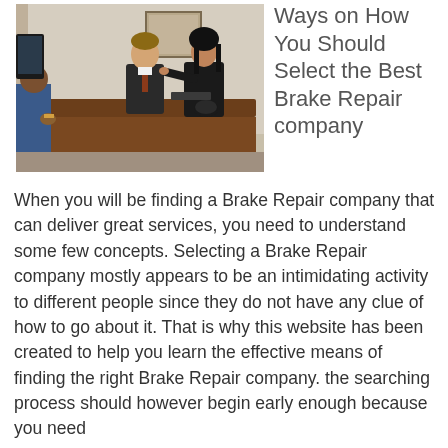[Figure (photo): A photo of people sitting at a wooden desk in an office setting. A man in a suit and a woman in a dark jacket appear to be in a meeting or consultation. A computer monitor and other office items are visible.]
Ways on How You Should Select the Best Brake Repair company
When you will be finding a Brake Repair company that can deliver great services, you need to understand some few concepts. Selecting a Brake Repair company mostly appears to be an intimidating activity to different people since they do not have any clue of how to go about it. That is why this website has been created to help you learn the effective means of finding the right Brake Repair company. the searching process should however begin early enough because you need